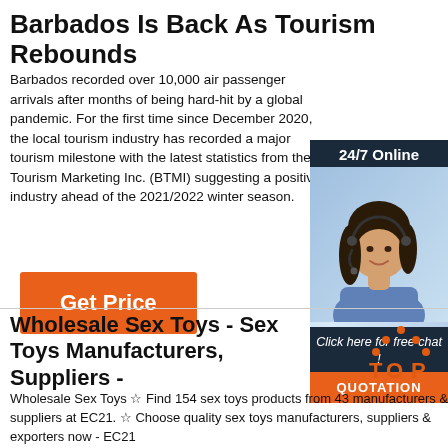Barbados Is Back As Tourism Rebounds
Barbados recorded over 10,000 air passenger arrivals after months of being hard-hit by a global pandemic. For the first time since December 2020, the local tourism industry has recorded a major tourism milestone with the latest statistics from the Tourism Marketing Inc. (BTMI) suggesting a positiv industry ahead of the 2021/2022 winter season.
[Figure (other): Orange 'Get Price' button]
[Figure (other): Advertisement sidebar with '24/7 Online' label, photo of woman with headset, 'Click here for free chat!' text, and orange QUOTATION button]
Wholesale Sex Toys - Sex Toys Manufacturers, Suppliers -
[Figure (logo): Red and orange TOP logo mark]
Wholesale Sex Toys ☆ Find 154 sex toys products from 43 manufacturers & suppliers at EC21. ☆ Choose quality sex toys manufacturers, suppliers & exporters now - EC21